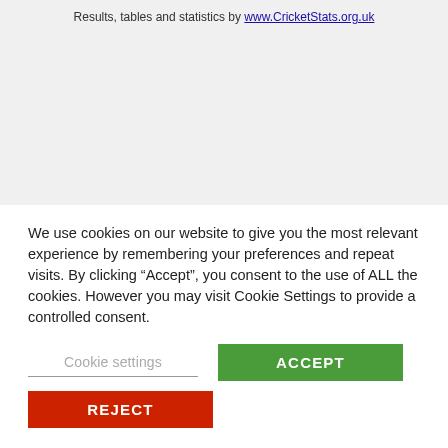Results, tables and statistics by www.CricketStats.org.uk
We use cookies on our website to give you the most relevant experience by remembering your preferences and repeat visits. By clicking “Accept”, you consent to the use of ALL the cookies. However you may visit Cookie Settings to provide a controlled consent.